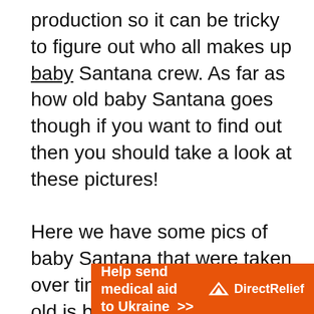production so it can be tricky to figure out who all makes up baby Santana crew. As far as how old baby Santana goes though if you want to find out then you should take a look at these pictures!

Here we have some pics of baby Santana that were taken over time so they show how old is baby Santana as well as how tall she is and how much weight she has gained over time! The photos also include details like how long her hair was at each point along with
[Figure (other): Advertisement banner: orange background with white bold text 'Help send medical aid to Ukraine >>' and Direct Relief logo on the right]